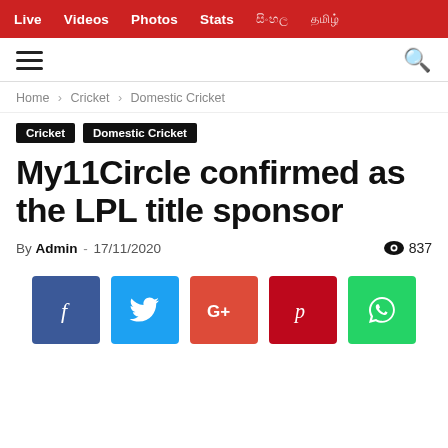Live  Videos  Photos  Stats
Home › Cricket › Domestic Cricket
Cricket  Domestic Cricket
My11Circle confirmed as the LPL title sponsor
By Admin - 17/11/2020  👁 837
[Figure (other): Social share buttons: Facebook, Twitter, Google+, Pinterest, WhatsApp]